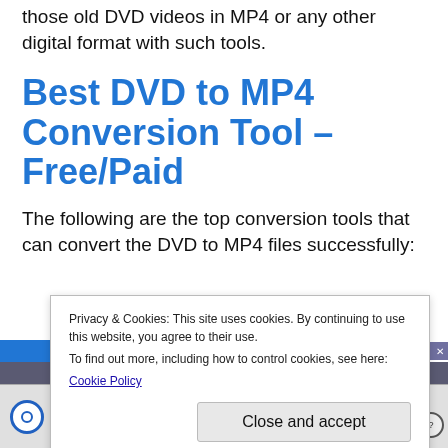those old DVD videos in MP4 or any other digital format with such tools.
Best DVD to MP4 Conversion Tool – Free/Paid
The following are the top conversion tools that can convert the DVD to MP4 files successfully:
Privacy & Cookies: This site uses cookies. By continuing to use this website, you agree to their use.
To find out more, including how to control cookies, see here:
Cookie Policy
Close and accept
[Figure (screenshot): WinX DVD Ripper Platinum application window shown at the bottom of the page, with taskbar showing disc and image icons.]